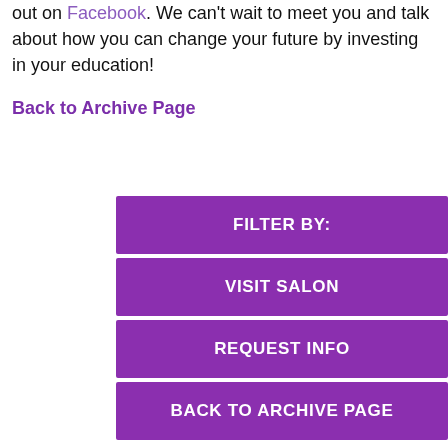out on Facebook. We can't wait to meet you and talk about how you can change your future by investing in your education!
Back to Archive Page
FILTER BY:
VISIT SALON
REQUEST INFO
BACK TO ARCHIVE PAGE